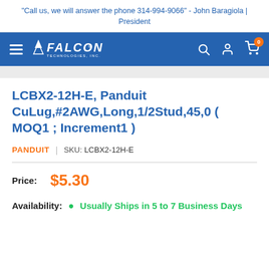"Call us, we will answer the phone 314-994-9066" - John Baragiola | President
[Figure (logo): Falcon Technologies Inc. navigation bar with hamburger menu, logo, search, account, and cart icons]
LCBX2-12H-E, Panduit CuLug,#2AWG,Long,1/2Stud,45,0 ( MOQ1 ; Increment1 )
PANDUIT | SKU: LCBX2-12H-E
Price: $5.30
Availability: Usually Ships in 5 to 7 Business Days